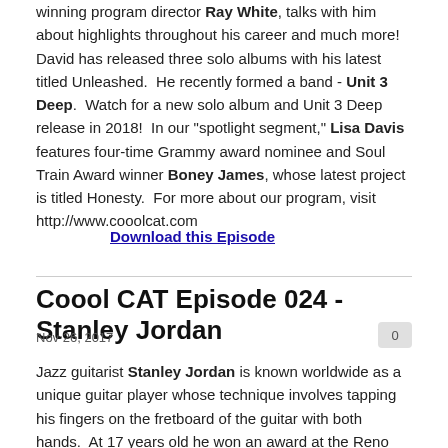winning program director Ray White, talks with him about highlights throughout his career and much more!  David has released three solo albums with his latest titled Unleashed.  He recently formed a band - Unit 3 Deep.  Watch for a new solo album and Unit 3 Deep release in 2018!  In our "spotlight segment," Lisa Davis features four-time Grammy award nominee and Soul Train Award winner Boney James, whose latest project is titled Honesty.  For more about our program, visit http://www.cooolcat.com
Download this Episode
Coool CAT Episode 024 - Stanley Jordan
Nov 26, 2017
Jazz guitarist Stanley Jordan is known worldwide as a unique guitar player whose technique involves tapping his fingers on the fretboard of the guitar with both hands.  At 17 years old he won an award at the Reno Jazz Festival.  He's played with the likes of Quincy Jones, Richie Cole and The Dave Matthews Band.  Stanley joins award winning  program director, Ray